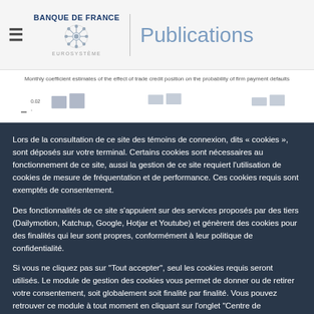Banque de France Eurosystème — Publications
[Figure (other): Partial chart: Monthly coefficient estimates of the effect of trade credit position on the probability of firm payment defaults — partially visible bar chart strip]
Lors de la consultation de ce site des témoins de connexion, dits « cookies », sont déposés sur votre terminal. Certains cookies sont nécessaires au fonctionnement de ce site, aussi la gestion de ce site requiert l'utilisation de cookies de mesure de fréquentation et de performance. Ces cookies requis sont exemptés de consentement.
Des fonctionnalités de ce site s'appuient sur des services proposés par des tiers (Dailymotion, Katchup, Google, Hotjar et Youtube) et génèrent des cookies pour des finalités qui leur sont propres, conformément à leur politique de confidentialité.
Si vous ne cliquez pas sur "Tout accepter", seul les cookies requis seront utilisés. Le module de gestion des cookies vous permet de donner ou de retirer votre consentement, soit globalement soit finalité par finalité. Vous pouvez retrouver ce module à tout moment en cliquant sur l'onglet "Centre de confidentialité" en bas de page. Vos préférences sont conservées pour une durée de 6 mois. Elles ne sont pas cédées à des tiers ni utilisées à d'autres fins.
Tout accepter
Tout refuser
Personnaliser
Short-term funding of non-financial firms essentially com...
From September 2012 ... representing more than 4.2 million firms ... exactly 2.20 billion more than seven times higher than the ... trade credit outstanding ... we highlight ...